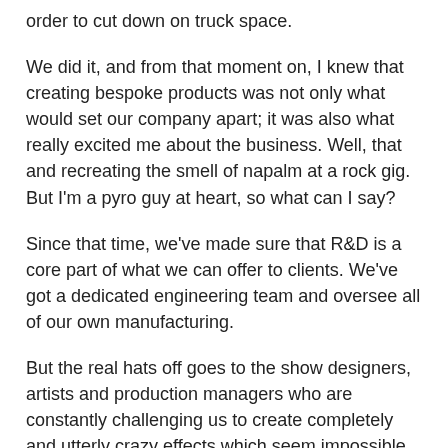order to cut down on truck space.
We did it, and from that moment on, I knew that creating bespoke products was not only what would set our company apart; it was also what really excited me about the business. Well, that and recreating the smell of napalm at a rock gig. But I'm a pyro guy at heart, so what can I say?
Since that time, we've made sure that R&D is a core part of what we can offer to clients. We've got a dedicated engineering team and oversee all of our own manufacturing.
But the real hats off goes to the show designers, artists and production managers who are constantly challenging us to create completely and utterly crazy effects which seem impossible at first look. They're always after a supplier with the balls to make it happen and we've not said no yet.